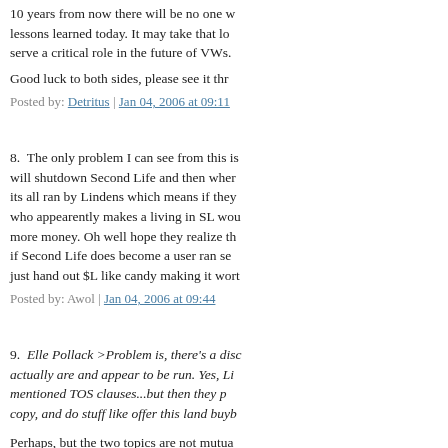10 years from now there will be no one who remembers the lessons learned today. It may take that long for a lawsuit to serve a critical role in the future of VWs.
Good luck to both sides, please see it thr
Posted by: Detritus | Jan 04, 2006 at 09:11
8.  The only problem I can see from this is that if Linden will shutdown Second Life and then where will everyone go? its all ran by Lindens which means if they go under everyone who appearently makes a living in SL would lose. And probably more money. Oh well hope they realize that but then again if Second Life does become a user ran service they might just hand out $L like candy making it worth
Posted by: Awol | Jan 04, 2006 at 09:44
9.  Elle Pollack >Problem is, there's a disconnect between how they actually are and appear to be run. Yes, Li mentioned TOS clauses...but then they p copy, and do stuff like offer this land buyb
Perhaps, but the two topics are not mutually exclusive. A purchaser making incorrect assumptions about the environment.
The in-game sale of land should be purch and valued as such. Land adiscont to th